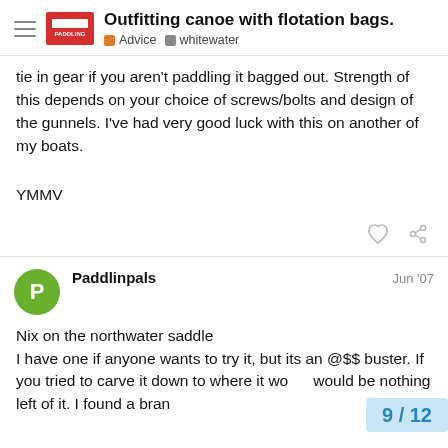Outfitting canoe with flotation bags. | Advice | whitewater
tie in gear if you aren't paddling it bagged out. Strength of this depends on your choice of screws/bolts and design of the gunnels. I've had very good luck with this on another of my boats.
YMMV
Paddlinpals  Jun '07
Nix on the northwater saddle
I have one if anyone wants to try it, but its an @$$ buster. If you tried to carve it down to where it wo would be nothing left of it. I found a bran
9 / 12